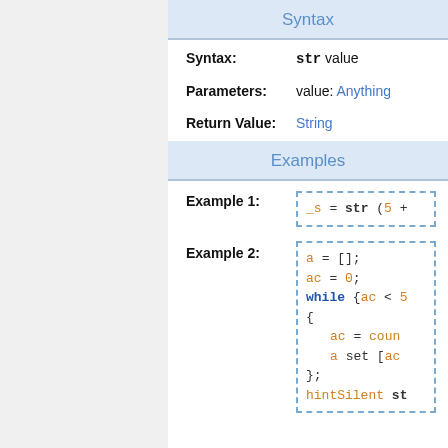Syntax
Syntax: str value
Parameters: value: Anything
Return Value: String
Examples
Example 1:
[Figure (screenshot): Code box showing: _s = str (5 +]
Example 2:
[Figure (screenshot): Code box showing: a = [];
ac = 0;
while {ac < 5
{
    ac = coun
    a set [ac
};
hintSilent st]